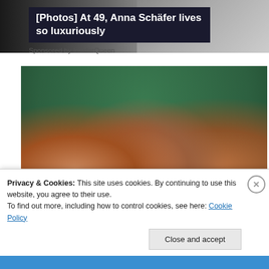[Figure (photo): Ad banner image at top of page, partially visible, dark navy background with grey tones]
[Photos] At 49, Anna Schäfer lives so luxuriously
Sponsored by InsiderQueen
[Figure (photo): Family portrait photo showing three people smiling outdoors in front of green trees]
[Pics] Obama's Home Is Gorgeous, Take A
Privacy & Cookies: This site uses cookies. By continuing to use this website, you agree to their use.
To find out more, including how to control cookies, see here: Cookie Policy
Close and accept